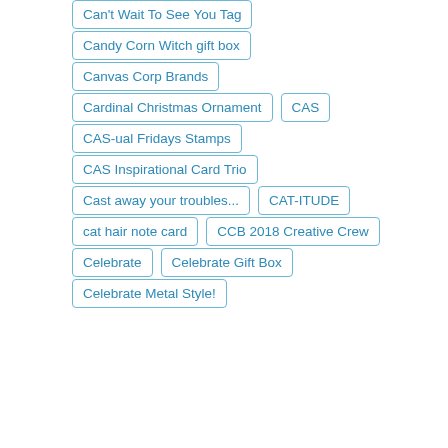Can't Wait To See You Tag
Candy Corn Witch gift box
Canvas Corp Brands
Cardinal Christmas Ornament
CAS
CAS-ual Fridays Stamps
CAS Inspirational Card Trio
Cast away your troubles...
CAT-ITUDE
cat hair note card
CCB 2018 Creative Crew
Celebrate
Celebrate Gift Box
Celebrate Metal Style!